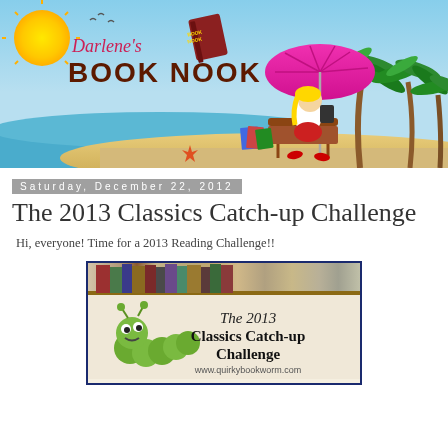[Figure (illustration): Darlene's Book Nook blog header banner showing a beach scene with a sun, ocean, sand, palm trees, a woman reading on a lounge chair under a pink umbrella, with the blog title 'Darlene's Book Nook' overlaid]
Saturday, December 22, 2012
The 2013 Classics Catch-up Challenge
Hi, everyone! Time for a 2013 Reading Challenge!!
[Figure (illustration): The 2013 Classics Catch-up Challenge promotional image showing a green bookworm next to text reading 'The 2013 Classics Catch-up Challenge' with URL www.quirkybookworm.com, set against a bookshelf background]